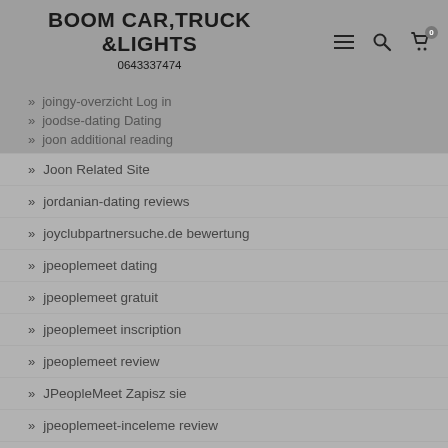BOOM CAR,TRUCK &LIGHTS 0643337474
joingy-overzicht Log in
joodse-dating Dating
joon additional reading
Joon Related Site
jordanian-dating reviews
joyclubpartnersuche.de bewertung
jpeoplemeet dating
jpeoplemeet gratuit
jpeoplemeet inscription
jpeoplemeet review
JPeopleMeet Zapisz sie
jpeoplemeet-inceleme review
jpeoplemeet-inceleme visitors
jswipe vs jdate click here